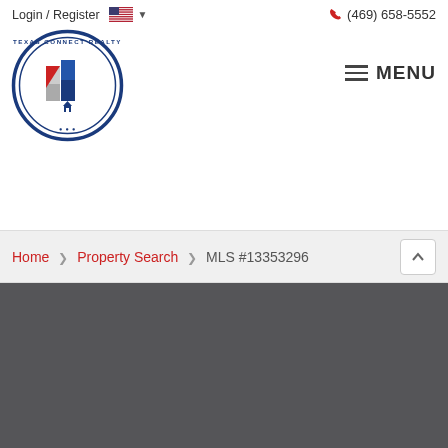Login / Register  (469) 658-5552  MENU
[Figure (logo): Texas Connect Realty circular logo with stylized building/flag design in blue, red, and gray]
Home > Property Search > MLS #13353296
[Figure (photo): Dark gray placeholder image area]